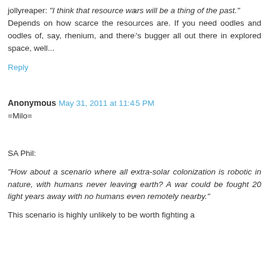jollyreaper: "I think that resource wars will be a thing of the past."
Depends on how scarce the resources are. If you need oodles and oodles of, say, rhenium, and there's bugger all out there in explored space, well...
Reply
Anonymous  May 31, 2011 at 11:45 PM
=Milo=
SA Phil:
"How about a scenario where all extra-solar colonization is robotic in nature, with humans never leaving earth? A war could be fought 20 light years away with no humans even remotely nearby."
This scenario is highly unlikely to be worth fighting a